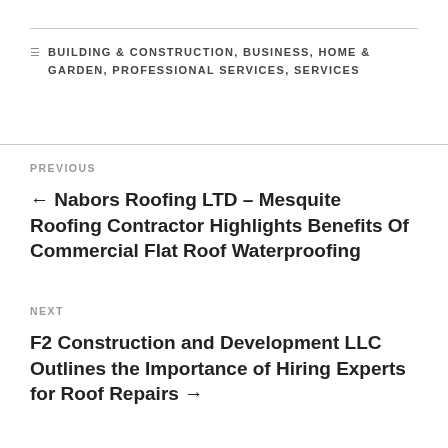BUILDING & CONSTRUCTION, BUSINESS, HOME & GARDEN, PROFESSIONAL SERVICES, SERVICES
PREVIOUS
← Nabors Roofing LTD – Mesquite Roofing Contractor Highlights Benefits Of Commercial Flat Roof Waterproofing
NEXT
F2 Construction and Development LLC Outlines the Importance of Hiring Experts for Roof Repairs →